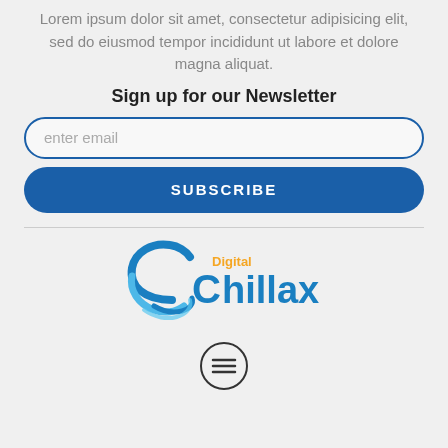Lorem ipsum dolor sit amet, consectetur adipisicing elit, sed do eiusmod tempor incididunt ut labore et dolore magna aliquat.
Sign up for our Newsletter
enter email
SUBSCRIBE
[Figure (logo): Chillax Digital logo with stylized C and wave graphic in blue, with 'Digital' in orange above 'hillax' in blue]
[Figure (other): Hamburger menu icon — three horizontal lines inside a circle]